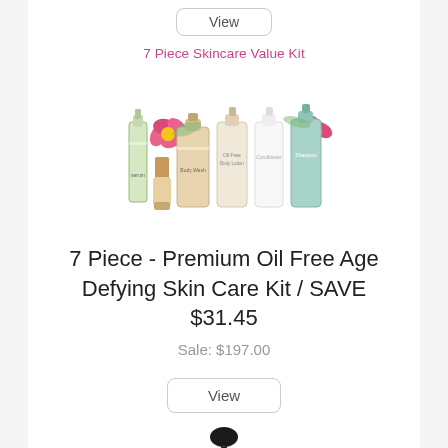View
[Figure (photo): 7 Piece Skincare Value Kit product photo showing skincare bottles, a brush, and flowers]
7 Piece - Premium Oil Free Age Defying Skin Care Kit / SAVE $31.45
Sale: $197.00
View
[Figure (photo): Dropper bottle product photo (partially visible at bottom)]